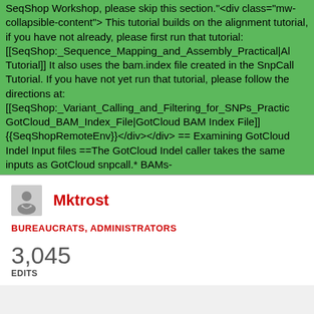SeqShop Workshop, please skip this section."<div class="mw-collapsible-content"> This tutorial builds on the alignment tutorial, if you have not already, please first run that tutorial: [[SeqShop:_Sequence_Mapping_and_Assembly_Practical|A Tutorial]] It also uses the bam.index file created in the SnpCall Tutorial. If you have not yet run that tutorial, please follow the directions at: [[SeqShop:_Variant_Calling_and_Filtering_for_SNPs_Practic GotCloud_BAM_Index_File|GotCloud BAM Index File]]  {{SeqShopRemoteEnv}}</div></div> == Examining GotCloud Indel Input files ==The GotCloud Indel caller takes the same inputs as GotCloud snpcall.* BAMs-
Mktrost
BUREAUCRATS, ADMINISTRATORS
3,045 EDITS